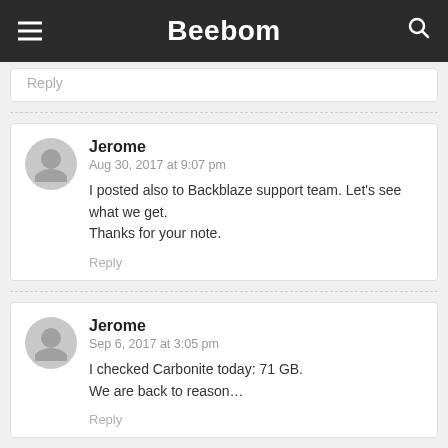Beebom
Reply
Jerome
Aug 30, 2017 at 9:07 pm
I posted also to Backblaze support team. Let's see what we get.
Thanks for your note.
Reply
Jerome
Sep 6, 2017 at 3:05 pm
I checked Carbonite today: 71 GB.
We are back to reason…
Reply
Math